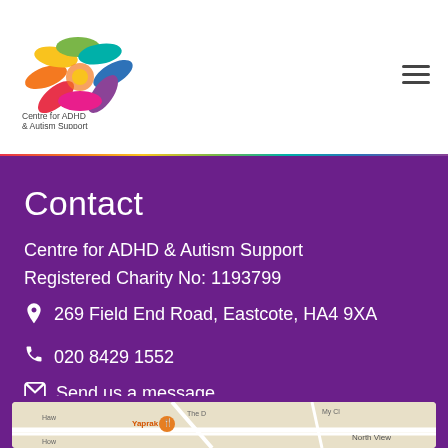[Figure (logo): Centre for ADHD & Autism Support logo — colourful lotus/leaf design above the organisation name]
Contact
Centre for ADHD & Autism Support
Registered Charity No: 1193799
269 Field End Road, Eastcote, HA4 9XA
020 8429 1552
Send us a message
[Figure (map): Google map snippet showing the area around 269 Field End Road, Eastcote — partial street names visible including Yaprak restaurant marker]